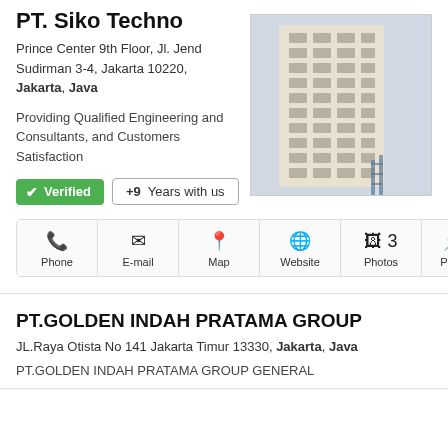PT. Siko Techno
Prince Center 9th Floor, Jl. Jend Sudirman 3-4, Jakarta 10220, Jakarta, Java
Providing Qualified Engineering and Consultants, and Customers Satisfaction
✓ Verified   +9 Years with us
[Figure (photo): Photo of a tall white multi-story building]
Phone  E-mail  Map  Website  3 Photos  3 Products
PT.GOLDEN INDAH PRATAMA GROUP
JL.Raya Otista No 141 Jakarta Timur 13330, Jakarta, Java
PT.GOLDEN INDAH PRATAMA GROUP GENERAL